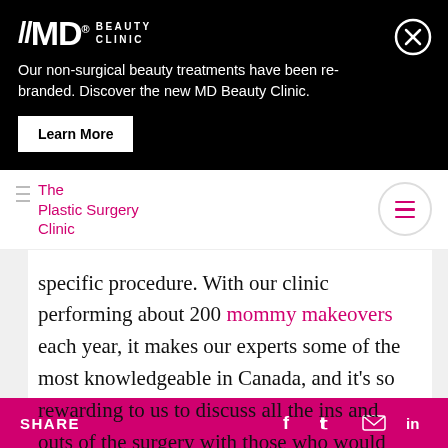[Figure (logo): //MD Beauty Clinic logo in white on black background]
Our non-surgical beauty treatments have been re-branded. Discover the new MD Beauty Clinic.
Learn More
[Figure (logo): The Plastic Surgery Clinic logo with pink text and hamburger menu icon]
specific procedure. With our clinic performing about 200 mommy makeovers each year, it makes our experts some of the most knowledgeable in Canada, and it's so rewarding to us to discuss all the ins and outs of the surgery with those who would like to learn more.
SHARE  f  t  [mail]  in